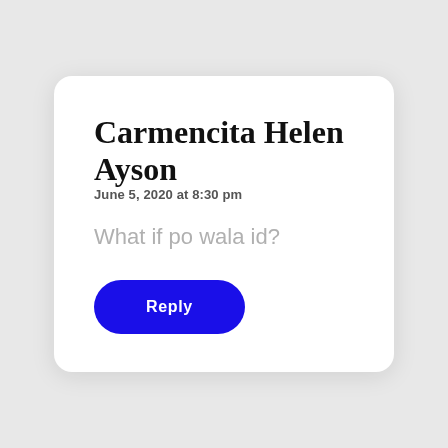Carmencita Helen Ayson
June 5, 2020 at 8:30 pm
What if po wala id?
Reply